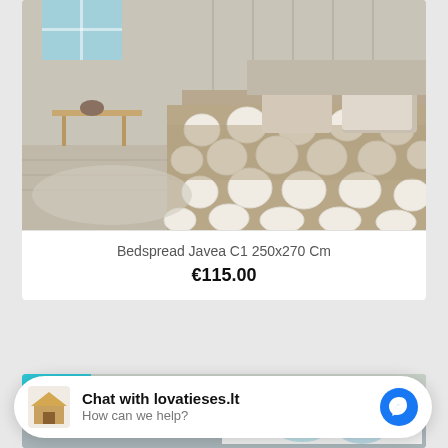[Figure (photo): Beige bedspread with large white polka dot pattern on a bed in a bedroom setting]
Bedspread Javea C1 250x270 Cm
€115.00
[Figure (photo): Partial view of a second product card with NEW badge and floral bedspread]
NEW
Chat with lovatieses.lt
How can we help?